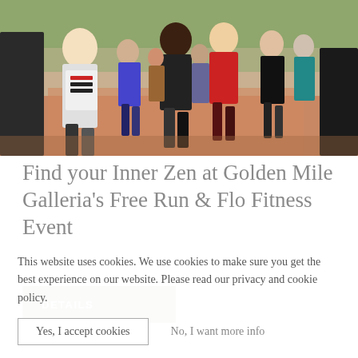[Figure (photo): Crowd of runners jogging on a path, photographed from front, diverse group with trees in background]
Find your Inner Zen at Golden Mile Galleria's Free Run & Flo Fitness Event
DETAILS
This website uses cookies. We use cookies to make sure you get the best experience on our website. Please read our privacy and cookie policy.
Yes, I accept cookies
No, I want more info